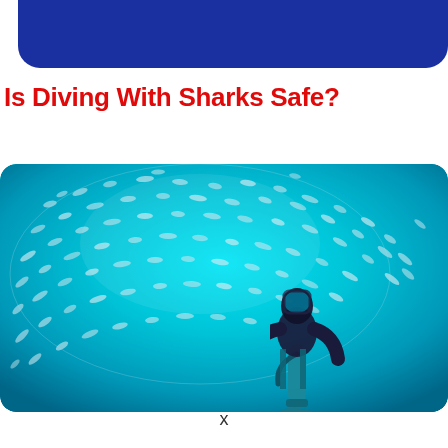Is Diving With Sharks Safe?
[Figure (photo): Underwater photo of a scuba diver surrounded by a large school of small fish in clear blue water, viewed from below. The diver is visible from behind/below with diving tank and fins.]
x